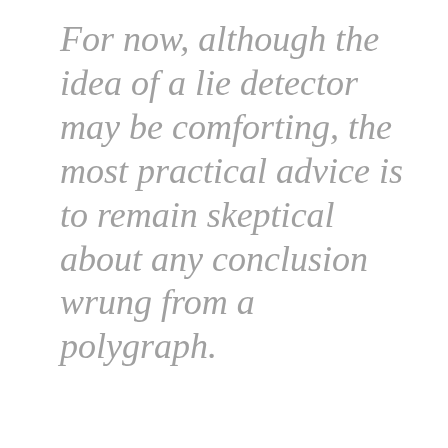For now, although the idea of a lie detector may be comforting, the most practical advice is to remain skeptical about any conclusion wrung from a polygraph.
Privacy & Cookies: This site uses cookies. By continuing to use this website, you agree to their use.
To find out more, including how to control cookies, see here: Cookie Policy